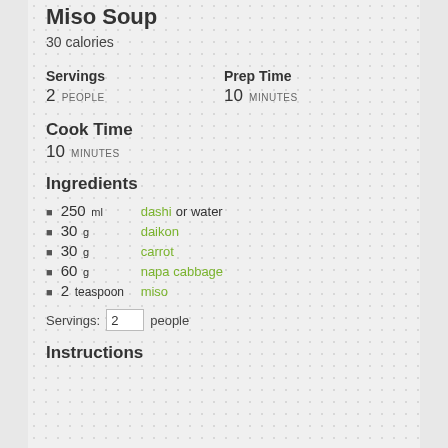Miso Soup
30 calories
Servings: 2 PEOPLE
Prep Time: 10 MINUTES
Cook Time
10 MINUTES
Ingredients
250 ml dashi or water
30 g daikon
30 g carrot
60 g napa cabbage
2 teaspoon miso
Servings: 2 people
Instructions